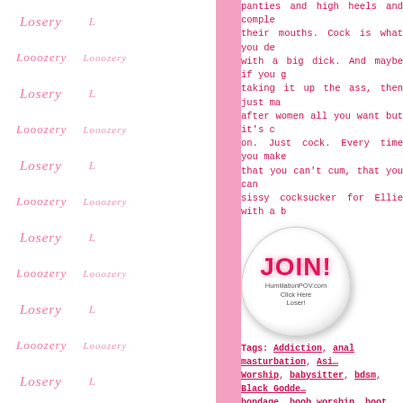[Figure (illustration): Sidebar with repeating pink 'Loser' and 'Looozery' italic text watermark pattern on white background, with a vertical pink bar separator]
panties and high heels and comple... their mouths. Cock is what you de... with a big dick. And maybe if you g... taking it up the ass, then just ma... after women all you want but it's c... on. Just cock. Every time you make... that you can't cum, that you can... sissy cocksucker for Ellie with a b...
[Figure (illustration): A round glossy button/badge graphic with 'JOIN!' in large red bubble letters and text 'HumiliationPOV.com Click Here Loser!']
Tags: Addiction, anal masturbation, Asian Worship, babysitter, bdsm, Black Goddess, bondage, boob worship, boot domination, Brat Princess, catfish domme, cbt, cei, ch..., compulsive masturbation, crossdressing, c..., countdown, cum eating instructions, dildo, edging, ego destruction, Ellie Idol, executri..., Femdom, femdom pov, feminization, fet..., Domination, foot fetish, foot slave training, brainwashing, Giantess, Goddess Worsh..., homewrecker, Humiliation, humiliation...